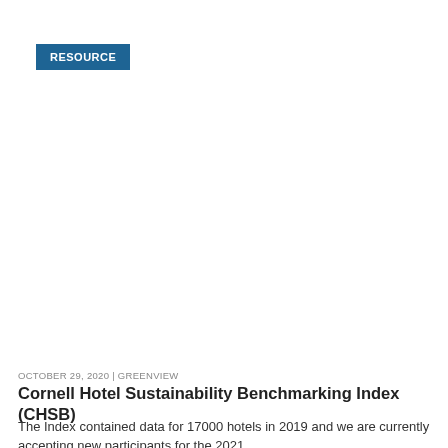RESOURCE
[Figure (screenshot): Cookie consent overlay with title 'We use cookies on this site to enhance your user experience', body text, More info link, and Accept / No, Thanks buttons]
OCTOBER 29, 2020 | GREENVIEW
Cornell Hotel Sustainability Benchmarking Index (CHSB)
The Index contained data for 17000 hotels in 2019 and we are currently accepting new participants for the 2021